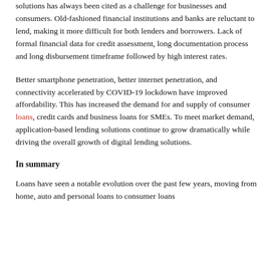solutions has always been cited as a challenge for businesses and consumers. Old-fashioned financial institutions and banks are reluctant to lend, making it more difficult for both lenders and borrowers. Lack of formal financial data for credit assessment, long documentation process and long disbursement timeframe followed by high interest rates.
Better smartphone penetration, better internet penetration, and connectivity accelerated by COVID-19 lockdown have improved affordability. This has increased the demand for and supply of consumer loans, credit cards and business loans for SMEs. To meet market demand, application-based lending solutions continue to grow dramatically while driving the overall growth of digital lending solutions.
In summary
Loans have seen a notable evolution over the past few years, moving from home, auto and personal loans to consumer loans